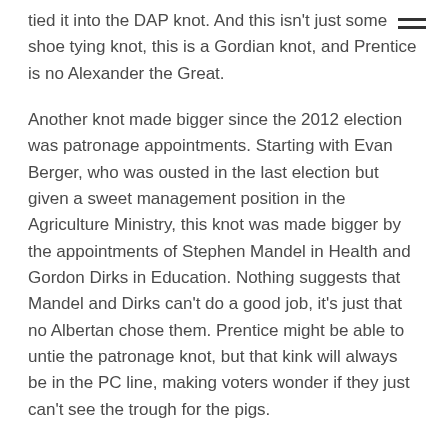tied it into the DAP knot.  And this isn't just some shoe tying knot, this is a Gordian knot, and Prentice is no Alexander the Great.
Another knot made bigger since the 2012 election was patronage appointments.  Starting with Evan Berger, who was ousted in the last election but given a sweet management position in the Agriculture Ministry, this knot was made bigger by the appointments of Stephen Mandel in Health and Gordon Dirks in Education.  Nothing suggests that Mandel and Dirks can't do a good job, it's just that no Albertan chose them.  Prentice might be able to untie the patronage knot, but that kink will always be in the PC line, making voters wonder if they just can't see the trough for the pigs.